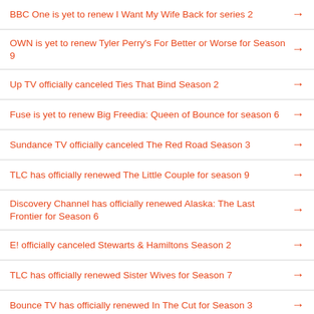BBC One is yet to renew I Want My Wife Back for series 2
OWN is yet to renew Tyler Perry's For Better or Worse for Season 9
Up TV officially canceled Ties That Bind Season 2
Fuse is yet to renew Big Freedia: Queen of Bounce for season 6
Sundance TV officially canceled The Red Road Season 3
TLC has officially renewed The Little Couple for season 9
Discovery Channel has officially renewed Alaska: The Last Frontier for Season 6
E! officially canceled Stewarts & Hamiltons Season 2
TLC has officially renewed Sister Wives for Season 7
Bounce TV has officially renewed In The Cut for Season 3